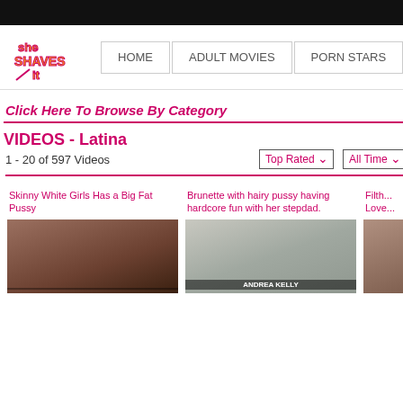SheShavesIt - HOME | ADULT MOVIES | PORN STARS
Click Here To Browse By Category
VIDEOS - Latina
1 - 20 of 597 Videos
Top Rated | All Time
Skinny White Girls Has a Big Fat Pussy
[Figure (photo): Video thumbnail showing close-up of woman]
Brunette with hairy pussy having hardcore fun with her stepdad.
[Figure (photo): Video thumbnail showing woman and man on couch, labeled ANDREA KELLY]
Filth... Love...
[Figure (photo): Video thumbnail partially visible on right edge]